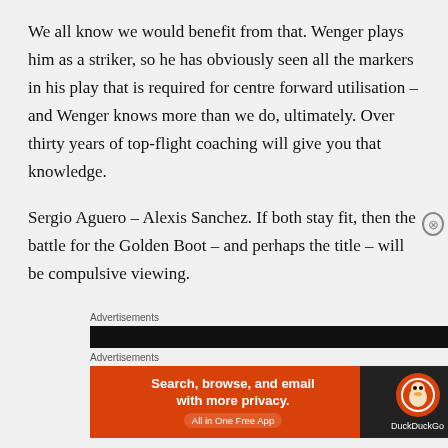We all know we would benefit from that. Wenger plays him as a striker, so he has obviously seen all the markers in his play that is required for centre forward utilisation – and Wenger knows more than we do, ultimately. Over thirty years of top-flight coaching will give you that knowledge.
Sergio Aguero – Alexis Sanchez. If both stay fit, then the battle for the Golden Boot – and perhaps the title – will be compulsive viewing.
[Figure (other): Advertisement section with DuckDuckGo banner ad: 'Search, browse, and email with more privacy. All in One Free App' with DuckDuckGo logo on dark background]